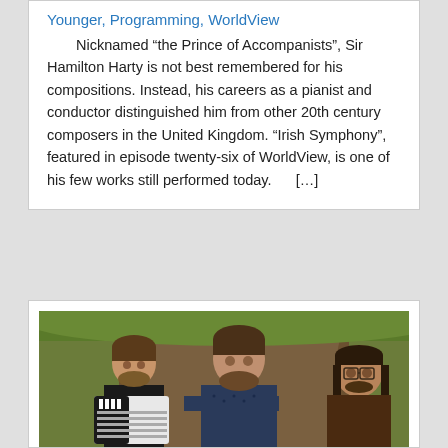Younger, Programming, WorldView
Nicknamed “the Prince of Accompanists”, Sir Hamilton Harty is not best remembered for his compositions. Instead, his careers as a pianist and conductor distinguished him from other 20th century composers in the United Kingdom. “Irish Symphony”, featured in episode twenty-six of WorldView, is one of his few works still performed today.      [...]
[Figure (photo): Three men standing outdoors in front of a large tree. The man on the left holds an accordion. All three are smiling.]